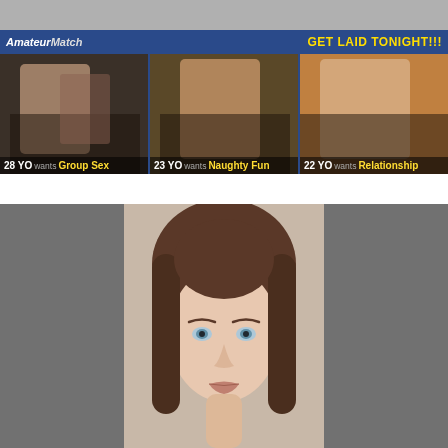[Figure (photo): Gray bar at top of page]
[Figure (photo): AmateurMatch dating advertisement banner with text GET LAID TONIGHT!!! and three profile photos with captions: 28 YO wants Group Sex, 23 YO wants Naughty Fun, 22 YO wants Relationship]
[Figure (photo): Portrait photo of a young woman with long brown hair and blue eyes against a gray background]